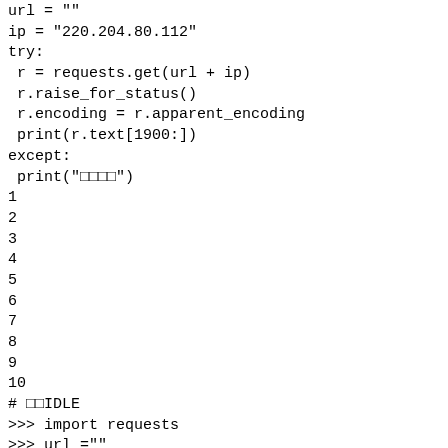url = ""
ip = "220.204.80.112"
try:
 r = requests.get(url + ip)
 r.raise_for_status()
 r.encoding = r.apparent_encoding
 print(r.text[1900:])
except:
 print("□□□□")
1
2
3
4
5
6
7
8
9
10
# □□IDLE
>>> import requests
>>> url =""
>>> ip = "220.204.80.112"